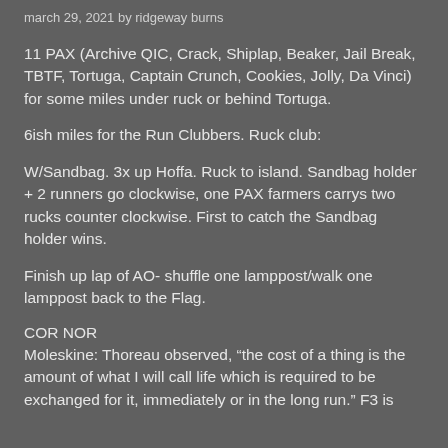march 29, 2021 by ridgeway burns
11 PAX (Archive QIC, Crack, Shiplap, Beaker, Jail Break, TBTF, Tortuga, Captain Crunch, Cookies, Jolly, Da Vinci) for some miles under ruck or behind Tortuga.
6ish miles for the Run Clubbers. Ruck club:
W/Sandbag. 3x up Hoffa. Ruck to island. Sandbag holder + 2 runners go clockwise, one PAX farmers carrys two rucks counter clockwise. First to catch the Sandbag holder wins.
Finish up lap of AO- shuffle one lamppost/walk one lamppost back to the Flag.
COR NOR
Moleskine: Thoreau observed, “the cost of a thing is the amount of what I will call life which is required to be exchanged for it, immediately or in the long run.” F3 is